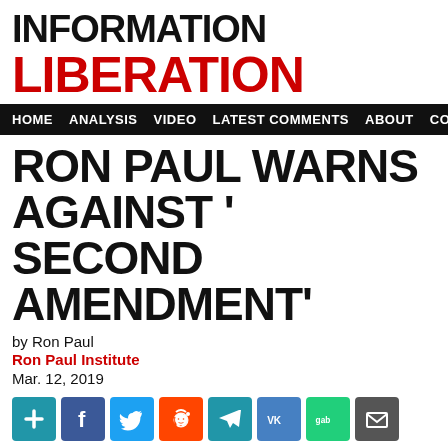INFORMATION LIBERATION
HOME  ANALYSIS  VIDEO  LATEST COMMENTS  ABOUT  CONTACT
RON PAUL WARNS AGAINST ' SECOND AMENDMENT'
by Ron Paul
Ron Paul Institute
Mar. 12, 2019
[Figure (other): Social sharing icons: plus, Facebook, Twitter, Reddit, Telegram, VK, Gab, Email]
[Figure (photo): Dark photo of a person, presumably Ron Paul, visible on the right side against black background]